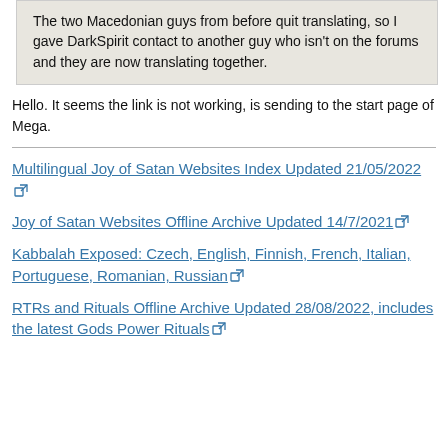The two Macedonian guys from before quit translating, so I gave DarkSpirit contact to another guy who isn't on the forums and they are now translating together.
Hello. It seems the link is not working, is sending to the start page of Mega.
Multilingual Joy of Satan Websites Index Updated 21/05/2022 [external link]
Joy of Satan Websites Offline Archive Updated 14/7/2021 [external link]
Kabbalah Exposed: Czech, English, Finnish, French, Italian, Portuguese, Romanian, Russian [external link]
RTRs and Rituals Offline Archive Updated 28/08/2022, includes the latest Gods Power Rituals [external link]